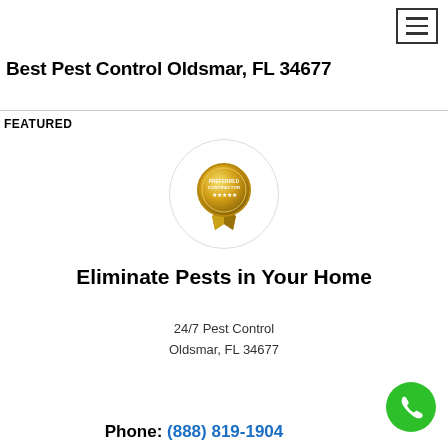≡ (hamburger menu icon)
Best Pest Control Oldsmar, FL 34677
FEATURED
[Figure (logo): Gold award badge/seal with ribbon, labeled 'PREFERRED CONTRACTOR' with stars, inside a light gray circle]
Eliminate Pests in Your Home
24/7 Pest Control
Oldsmar, FL 34677
Phone: (888) 819-1904
[Figure (illustration): Green circular phone call button icon in bottom right corner]